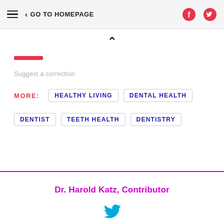GO TO HOMEPAGE
^
—
Suggest a correction
MORE: HEALTHY LIVING  DENTAL HEALTH
DENTIST  TEETH HEALTH  DENTISTRY
Dr. Harold Katz, Contributor